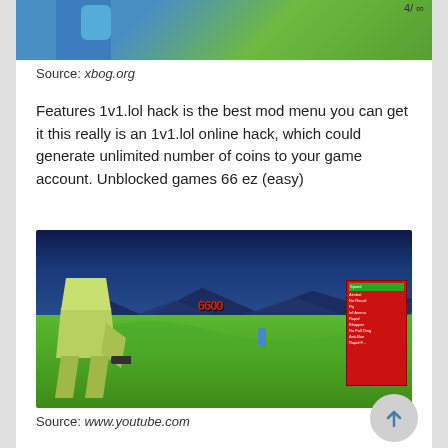[Figure (screenshot): Cropped screenshot of a low-poly 3D game (top portion, showing blue/green characters) with page number '4/ ∞' in top right corner]
Source: xbog.org
Features 1v1.lol hack is the best mod menu you can get it this really is an 1v1.lol online hack, which could generate unlimited number of coins to your game account. Unblocked games 66 ez (easy)
[Figure (screenshot): Screenshot of 1v1.lol low-poly 3D shooter game showing a green character holding a gun, green terrain, mountains in background, red health numbers floating, and a red/white mod menu panel on the right]
Source: www.youtube.com